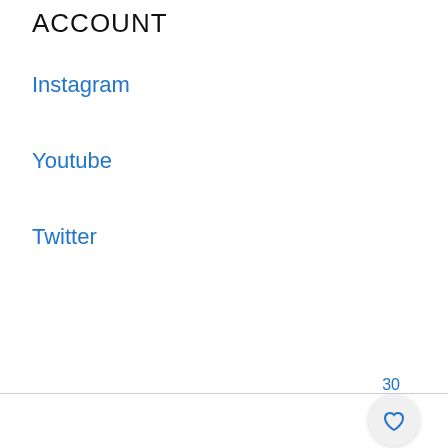ACCOUNT
Instagram
Youtube
Twitter
30
[Figure (other): Heart (favorites) button — circular light gray button with blue outline heart icon, with count badge '30' above it]
[Figure (other): Search button — circular blue button with white magnifying glass icon]